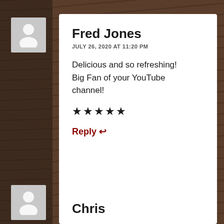[Figure (illustration): Generic user avatar placeholder (silhouette of person) in light grey box, top left area]
Fred Jones
JULY 26, 2020 AT 11:20 PM
Delicious and so refreshing! Big Fan of your YouTube channel!
★★★★★
Reply ↩
[Figure (illustration): Generic user avatar placeholder (silhouette of person) in light grey box, bottom left area]
Chris